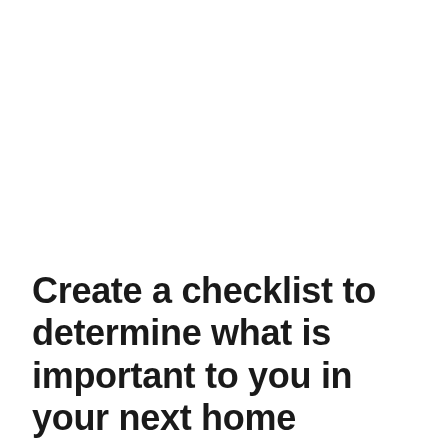Create a checklist to determine what is important to you in your next home
Rental inspections can be the quickest 15 minutes of your life. You wait with all the other prospective tenants